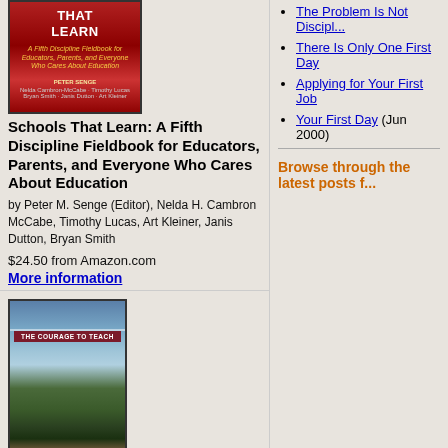[Figure (illustration): Book cover of 'Schools That Learn: A Fifth Discipline Fieldbook for Educators, Parents, and Everyone Who Cares About Education' by Peter Senge, with red/dark background and yellow subtitle text]
Schools That Learn: A Fifth Discipline Fieldbook for Educators, Parents, and Everyone Who Cares About Education
by Peter M. Senge (Editor), Nelda H. Cambron McCabe, Timothy Lucas, Art Kleiner, Janis Dutton, Bryan Smith
$24.50 from Amazon.com
More information
[Figure (illustration): Book cover of 'The Courage to Teach: Exploring the Inner Life of a Teacher' by Parker J. Palmer, with waterfall/nature imagery and dark red title bar]
The Courage to Teach : Exploring the Inner Landscape of a Teacher's Life
The Problem Is Not Discipl...
There Is Only One First Day
Applying for Your First Job
Your First Day (Jun 2000)
Browse through the latest posts f...